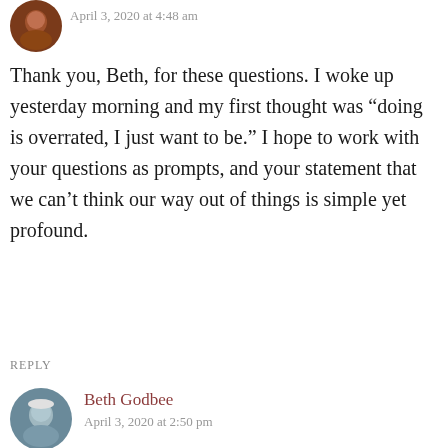[Figure (photo): Circular avatar photo of a person with reddish-brown tones, top-left corner]
April 3, 2020 at 4:48 am
Thank you, Beth, for these questions. I woke up yesterday morning and my first thought was “doing is overrated, I just want to be.” I hope to work with your questions as prompts, and your statement that we can’t think our way out of things is simple yet profound.
REPLY
[Figure (photo): Circular avatar photo of Beth Godbee, person in outdoor/cave setting with a helmet]
Beth Godbee
April 3, 2020 at 2:50 pm
Thanks, Joyce, I really appreciate you sharing what resonates. And I think you’re absolutely right that doing is overrated. I had a good conversation with